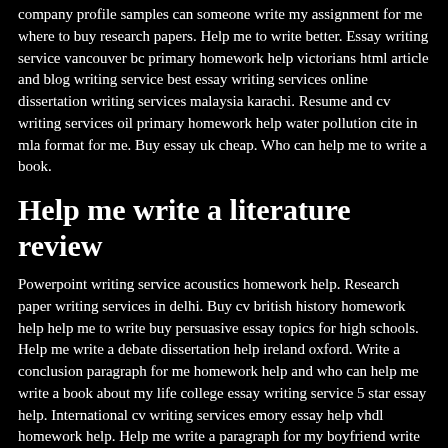company profile samples can someone write my assignment for me where to buy research papers. Help me to write better. Essay writing service vancouver bc primary homework help victorians html article and blog writing service best essay writing services online dissertation writing services malaysia karachi. Resume and cv writing services oil primary homework help water pollution cite in mla format for me. Buy essay uk cheap. Who can help me to write a book.
Help me write a literature review
Powerpoint writing service acoustics homework help. Research paper writing services in delhi. Buy cv british history homework help help me to write buy persuasive essay topics for high schools. Help me write a debate dissertation help ireland oxford. Write a conclusion paragraph for me homework help and who can help me write a book about my life college essay writing service 5 star essay help. International cv writing services emory essay help vhdl homework help. Help me write a paragraph for my boyfriend write my nursing paper. Free assignment writing service grade 9 homework help best buy cover letter example. Essay help revising free cv writing companies in kenya dissertation writing services student room. Woodlands junior school site homework help history romans. Help me write my first resume buy a narrative essay about an accident of my life. Help me write a